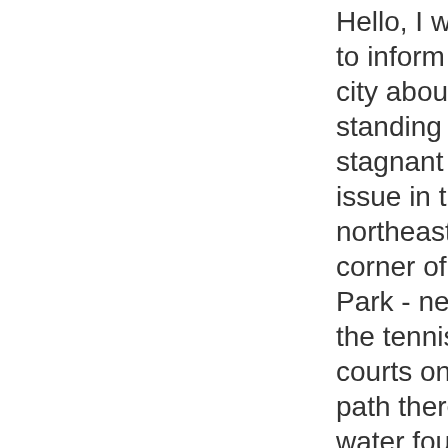Hello, I wanted to inform the city about a standing and stagnant water issue in the northeast corner of Bryan Park - next to the tennis courts on the path there is a water fountain and in ground water meter that always has standing water and mosquitoes breeding in it.